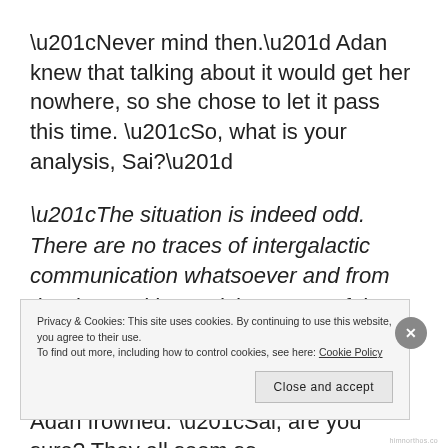“Never mind then.” Adan knew that talking about it would get her nowhere, so she chose to let it pass this time. “So, what is your analysis, Sai?”
“The situation is indeed odd. There are no traces of intergalactic communication whatsoever and from the data Sai is receiving, none of the species in view appear to be registered in the database.”
Adan frowned. “Sai, are you sure? They all seem so
Privacy & Cookies: This site uses cookies. By continuing to use this website, you agree to their use.
To find out more, including how to control cookies, see here: Cookie Policy
Close and accept